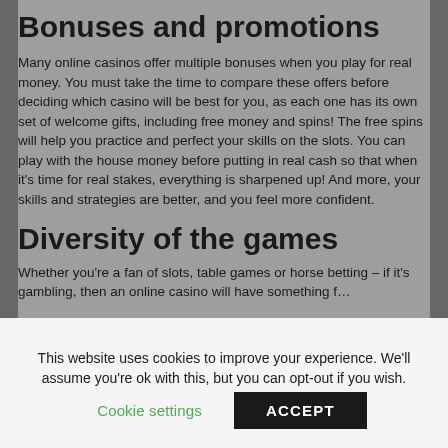Bonuses and promotions
Many online casinos offer multiple bonuses when you play for real money. You must take the time to compare these offers before deciding which casino will be best for you, as each one has its own set of welcome gifts, including free money and spins! The free spins will help you practice and perfect your skills on the slots. You can play with the house money before putting in real cash so that when it's time for real stakes, everything is sharpened up! And more, your skills and strategies are better, and you feel more confident.
Diversity of the games
Whether you're a fan of slots, table games or horse betting – if it's gambling, then an online casino will have something f…
This website uses cookies to improve your experience. We'll assume you're ok with this, but you can opt-out if you wish.
Cookie settings    ACCEPT